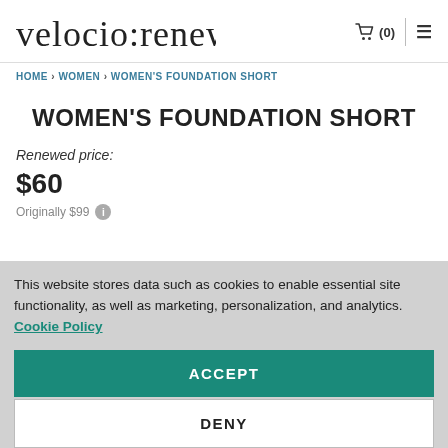velocio:renewed  🛒 (0)  ≡
HOME › WOMEN › WOMEN'S FOUNDATION SHORT
WOMEN'S FOUNDATION SHORT
Renewed price:
$60
Originally $99
This website stores data such as cookies to enable essential site functionality, as well as marketing, personalization, and analytics. Cookie Policy
ACCEPT
DENY